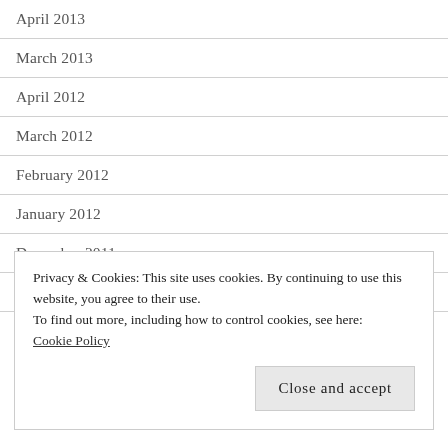April 2013
March 2013
April 2012
March 2012
February 2012
January 2012
December 2011
November 2011
October 2011
Privacy & Cookies: This site uses cookies. By continuing to use this website, you agree to their use. To find out more, including how to control cookies, see here: Cookie Policy
Close and accept